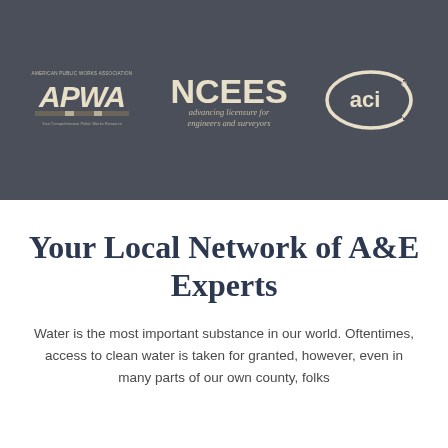[Figure (logo): APWA (American Public Works Association) logo in cream/beige on dark gray background]
[Figure (logo): NCEES logo - advancing licensure for engineers and surveyors - in cream/beige on dark gray background]
[Figure (logo): ACI logo in cream/beige oval shape on dark gray background]
Your Local Network of A&E Experts
Water is the most important substance in our world. Oftentimes, access to clean water is taken for granted, however, even in many parts of our own county, folks